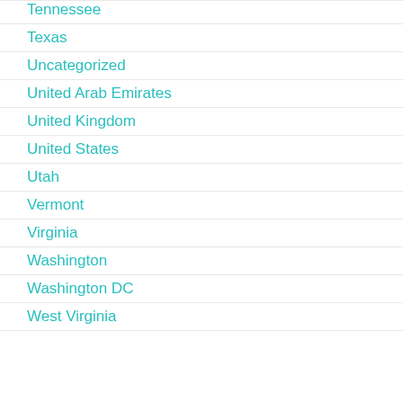Tennessee
Texas
Uncategorized
United Arab Emirates
United Kingdom
United States
Utah
Vermont
Virginia
Washington
Washington DC
West Virginia